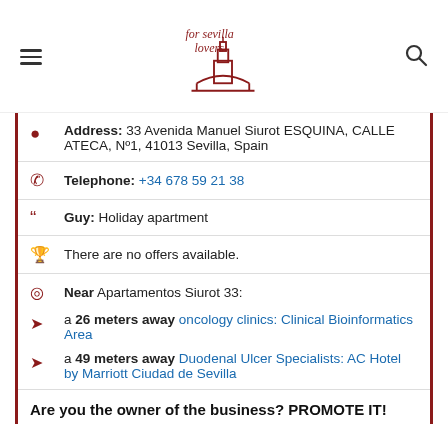[Figure (logo): For Sevilla Lovers logo with tower icon and cursive text]
Address: 33 Avenida Manuel Siurot ESQUINA, CALLE ATECA, Nº1, 41013 Sevilla, Spain
Telephone: +34 678 59 21 38
Guy: Holiday apartment
There are no offers available.
Near Apartamentos Siurot 33:
a 26 meters away oncology clinics: Clinical Bioinformatics Area
a 49 meters away Duodenal Ulcer Specialists: AC Hotel by Marriott Ciudad de Sevilla
Are you the owner of the business? PROMOTE IT!